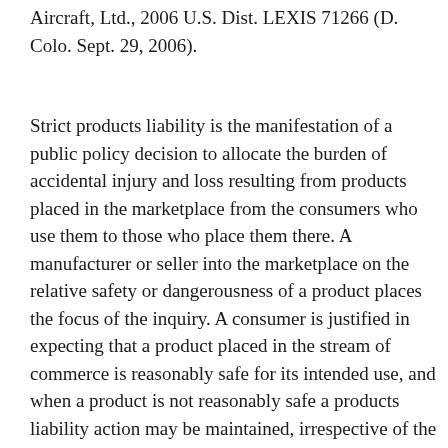Aircraft, Ltd., 2006 U.S. Dist. LEXIS 71266 (D. Colo. Sept. 29, 2006).
Strict products liability is the manifestation of a public policy decision to allocate the burden of accidental injury and loss resulting from products placed in the marketplace from the consumers who use them to those who place them there. A manufacturer or seller into the marketplace on the relative safety or dangerousness of a product places the focus of the inquiry. A consumer is justified in expecting that a product placed in the stream of commerce is reasonably safe for its intended use, and when a product is not reasonably safe a products liability action may be maintained, irrespective of the precise nature or type of defect alleged. United States Aviation Underwriters, Inc. v. Pilatus Bus. Aircraft, Ltd., 2006 U.S.